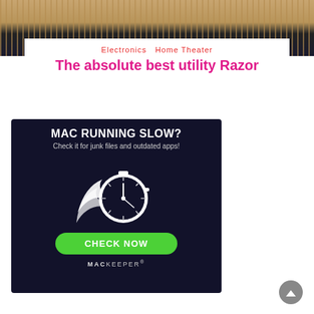[Figure (photo): Top photo showing electronics/home theater equipment on a wooden surface, partially visible]
Electronics Home Theater
The absolute best utility Razor
[Figure (infographic): MacKeeper advertisement on dark navy background. Text: MAC RUNNING SLOW? Check it for junk files and outdated apps! White stopwatch icon with swoosh. Green CHECK NOW button. MACKEEPER logo at bottom.]